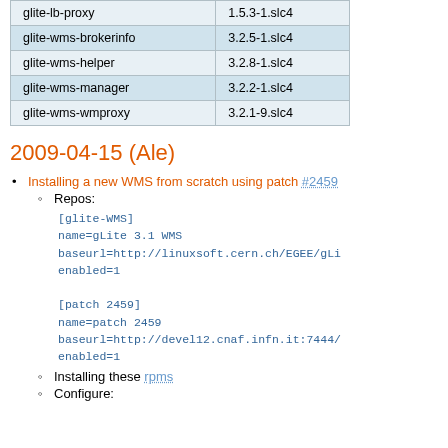| glite-lb-proxy | 1.5.3-1.slc4 |
| glite-wms-brokerinfo | 3.2.5-1.slc4 |
| glite-wms-helper | 3.2.8-1.slc4 |
| glite-wms-manager | 3.2.2-1.slc4 |
| glite-wms-wmproxy | 3.2.1-9.slc4 |
2009-04-15 (Ale)
Installing a new WMS from scratch using patch #2459
Repos:
[glite-WMS]
name=gLite 3.1 WMS
baseurl=http://linuxsoft.cern.ch/EGEE/gLi
enabled=1

[patch 2459]
name=patch 2459
baseurl=http://devel12.cnaf.infn.it:7444/
enabled=1
Installing these rpms
Configure: